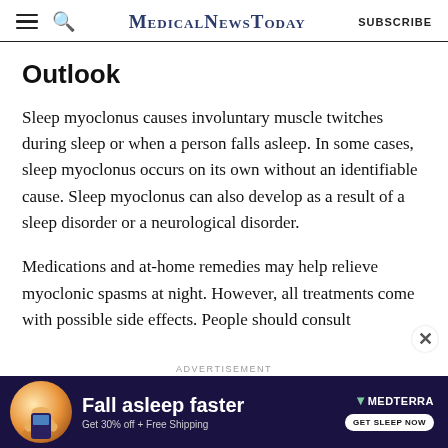MedicalNewsToday | SUBSCRIBE
Outlook
Sleep myoclonus causes involuntary muscle twitches during sleep or when a person falls asleep. In some cases, sleep myoclonus occurs on its own without an identifiable cause. Sleep myoclonus can also develop as a result of a sleep disorder or a neurological disorder.
Medications and at-home remedies may help relieve myoclonic spasms at night. However, all treatments come with possible side effects. People should consult
[Figure (other): Advertisement banner for Medterra: 'Fall asleep faster — Get 30% off + Free Shipping — GET SLEEP NOW']